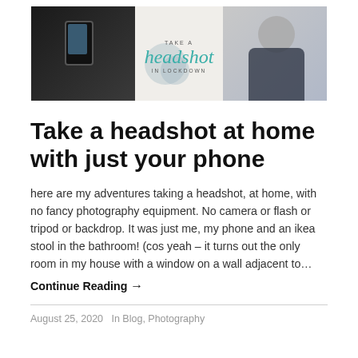[Figure (photo): Banner image showing a person holding a phone on the left (dark background), text in the center reading 'TAKE A headshot IN LOCKDOWN' with teal cursive font, and a woman smiling on the right (light background).]
Take a headshot at home with just your phone
here are my adventures taking a headshot, at home, with no fancy photography equipment. No camera or flash or tripod or backdrop. It was just me, my phone and an ikea stool in the bathroom! (cos yeah – it turns out the only room in my house with a window on a wall adjacent to…
Continue Reading →
August 25, 2020   In Blog, Photography